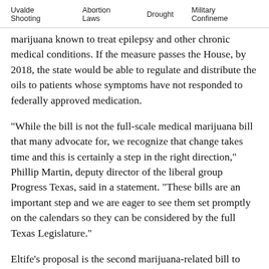Uvalde Shooting   Abortion Laws   Drought   Military Confinement
marijuana known to treat epilepsy and other chronic medical conditions. If the measure passes the House, by 2018, the state would be able to regulate and distribute the oils to patients whose symptoms have not responded to federally approved medication.
"While the bill is not the full-scale medical marijuana bill that many advocate for, we recognize that change takes time and this is certainly a step in the right direction," Phillip Martin, deputy director of the liberal group Progress Texas, said in a statement. “These bills are an important step and we are eager to see them set promptly on the calendars so they can be considered by the full Texas Legislature."
Eltife’s proposal is the second marijuana-related bill to receive votes of support in as many days. On Wednesday night, a House committee voted 5-